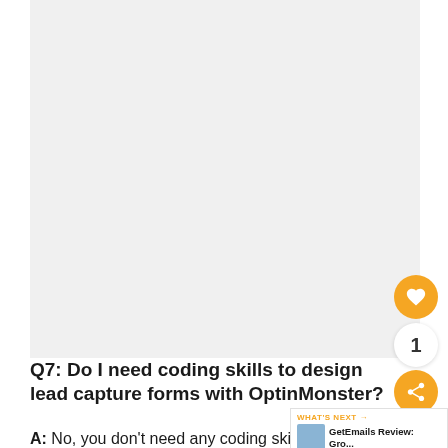[Figure (screenshot): Large white/light gray blank content area at top of page]
Q7: Do I need coding skills to design lead capture forms with OptinMonster?
A: No, you don't need any coding skills.